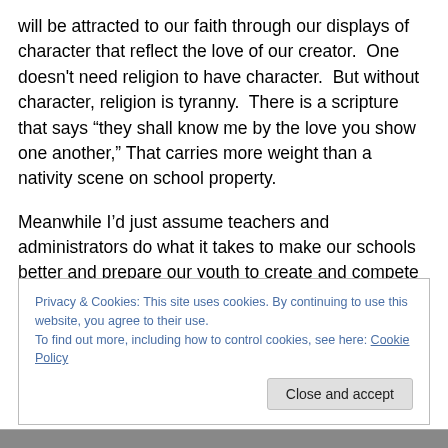will be attracted to our faith through our displays of character that reflect the love of our creator.  One doesn't need religion to have character.  But without character, religion is tyranny.  There is a scripture that says “they shall know me by the love you show one another,” That carries more weight than a nativity scene on school property.
Meanwhile I’d just assume teachers and administrators do what it takes to make our schools better and prepare our youth to create and compete in this ever increasingly
Privacy & Cookies: This site uses cookies. By continuing to use this website, you agree to their use.
To find out more, including how to control cookies, see here: Cookie Policy